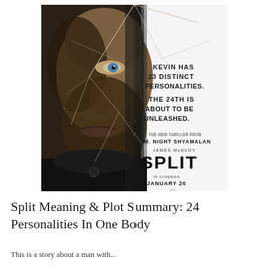[Figure (photo): Movie poster for 'Split' (2017) directed by M. Night Shyamalan. Left half shows a close-up of a man's face (James McAvoy) with cracked glass overlaid. Right side on white background reads: 'KEVIN HAS 23 DISTINCT PERSONALITIES. THE 24TH IS ABOUT TO BE UNLEASHED.' followed by 'THE NEW THRILLER FROM M. NIGHT SHYAMALAN', 'JAMES McAVOY', and the title 'SPLIT' in large bold letters, then 'IN CINEMAS JANUARY 20' with a Universal Pictures logo.]
Split Meaning & Plot Summary: 24 Personalities In One Body
This is a story about a man with...